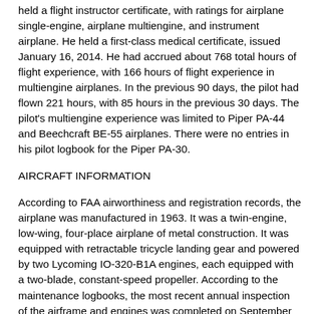held a flight instructor certificate, with ratings for airplane single-engine, airplane multiengine, and instrument airplane. He held a first-class medical certificate, issued January 16, 2014. He had accrued about 768 total hours of flight experience, with 166 hours of flight experience in multiengine airplanes. In the previous 90 days, the pilot had flown 221 hours, with 85 hours in the previous 30 days. The pilot's multiengine experience was limited to Piper PA-44 and Beechcraft BE-55 airplanes. There were no entries in his pilot logbook for the Piper PA-30.
AIRCRAFT INFORMATION
According to FAA airworthiness and registration records, the airplane was manufactured in 1963. It was a twin-engine, low-wing, four-place airplane of metal construction. It was equipped with retractable tricycle landing gear and powered by two Lycoming IO-320-B1A engines, each equipped with a two-blade, constant-speed propeller. According to the maintenance logbooks, the most recent annual inspection of the airframe and engines was completed on September 10, 2015. At that time, the airframe had accumulated 7,252 total